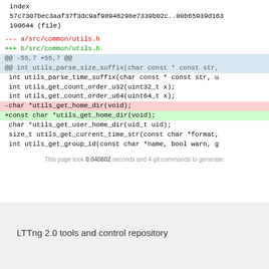index
57c7307bec3aaf37f3dc9af98946298e7339b02c..00b65939d163
100644 (file)
--- a/src/common/utils.h
+++ b/src/common/utils.h
@@ -55,7 +55,7 @@
@@ int utils_parse_size_suffix(char const * const str,
  int utils_parse_time_suffix(char const * const str, u
  int utils_get_count_order_u32(uint32_t x);
  int utils_get_count_order_u64(uint64_t x);
-char *utils_get_home_dir(void);
+const char *utils_get_home_dir(void);
  char *utils_get_user_home_dir(uid_t uid);
  size_t utils_get_current_time_str(const char *format,
  int utils_get_group_id(const char *name, bool warn, g
This page took 0.040802 seconds and 4 git commands to generate.
LTTng 2.0 tools and control repository